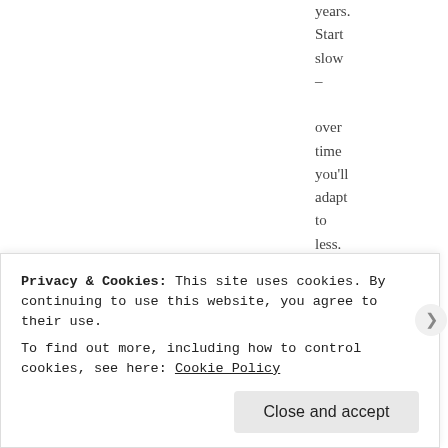years. Start slow – over time you'll adapt to less.
[Figure (other): Blue star icon with 'Like' label below]
Privacy & Cookies: This site uses cookies. By continuing to use this website, you agree to their use.
To find out more, including how to control cookies, see here: Cookie Policy
Close and accept